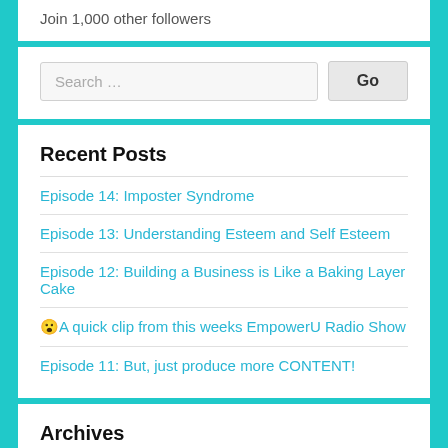Join 1,000 other followers
Search …
Recent Posts
Episode 14: Imposter Syndrome
Episode 13: Understanding Esteem and Self Esteem
Episode 12: Building a Business is Like a Baking Layer Cake
😮A quick clip from this weeks EmpowerU Radio Show
Episode 11: But, just produce more CONTENT!
Archives
November 2021